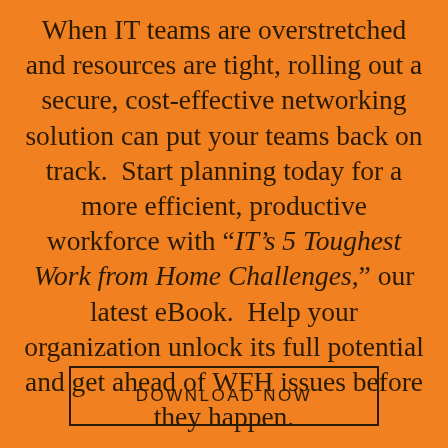When IT teams are overstretched and resources are tight, rolling out a secure, cost-effective networking solution can put your teams back on track.  Start planning today for a more efficient, productive workforce with “IT’s 5 Toughest Work from Home Challenges,” our latest eBook.  Help your organization unlock its full potential and get ahead of WFH issues before they happen.
DOWNLOAD NOW